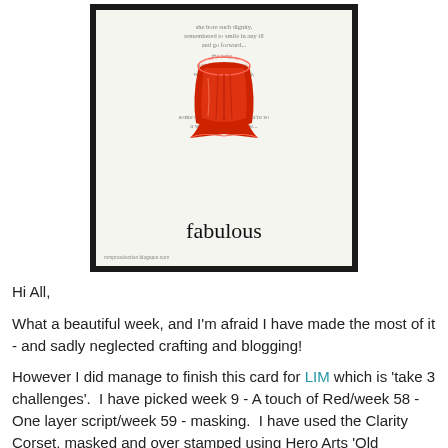[Figure (photo): A handmade greeting card featuring a red corset stamp centered on white card stock, surrounded by French script background stamping in ink. The word 'fabulous' is written in script at the bottom of the card. The card is mounted on a black background. A watermark reads 'mrsprosduction.blogspot.com'.]
Hi All,
What a beautiful week, and I'm afraid I have made the most of it - and sadly neglected crafting and blogging!
However I did manage to finish this card for LIM which is 'take 3 challenges'.  I have picked week 9 - A touch of Red/week 58 - One layer script/week 59 - masking.  I have used the Clarity Corset, masked and over stamped using Hero Arts 'Old FrenchWriting' through a torn paper mask as I didn't